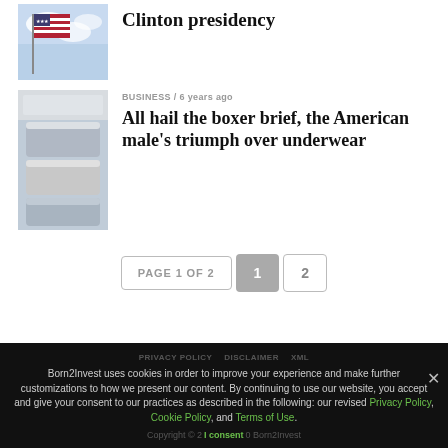[Figure (photo): Thumbnail image of American flag against sky]
Clinton presidency
[Figure (photo): Thumbnail image of boxer briefs/underwear]
BUSINESS / 6 years ago
All hail the boxer brief, the American male’s triumph over underwear
PAGE 1 OF 2  1  2
PRIVACY POLICY  DISCLAIMER  XML
Born2Invest uses cookies in order to improve your experience and make further customizations to how we present our content. By continuing to use our website, you accept and give your consent to our practices as described in the following: our revised Privacy Policy, Cookie Policy, and Terms of Use.
Copyright © 2  I consent  0 Born2Invest